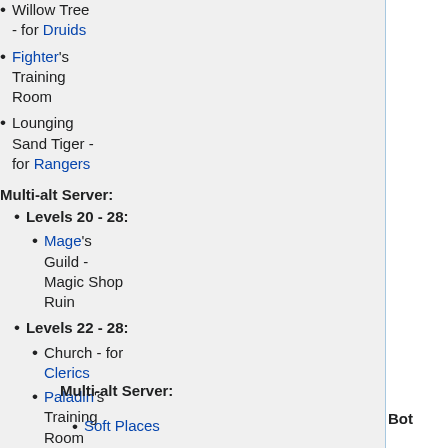Willow Tree - for Druids
Fighter's Training Room
Lounging Sand Tiger - for Rangers
Multi-alt Server:
Levels 20 - 28:
Mage's Guild - Magic Shop Ruin
Levels 22 - 28:
Church - for Clerics
Paladin's Training Room
Multi-alt Server:
Soft Places
Both
D...
D... S...
O... W...
O...